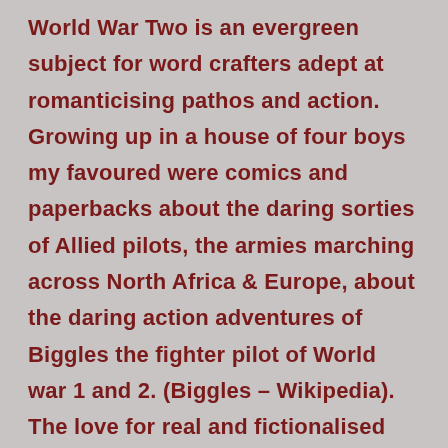World War Two is an evergreen subject for word crafters adept at romanticising pathos and action. Growing up in a house of four boys my favoured were comics and paperbacks about the daring sorties of Allied pilots, the armies marching across North Africa & Europe, about the daring action adventures of Biggles the fighter pilot of World war 1 and 2. (Biggles – Wikipedia). The love for real and fictionalised action continued.... Leon Uri's The Exodus, Catch-22, The Pianest to name a few. In the present, movies such as Schindler's List, the Dairy of Anne Frank, Dunkirk....